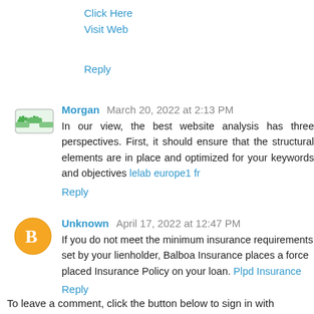Click Here
Visit Web
Reply
Morgan March 20, 2022 at 2:13 PM
In our view, the best website analysis has three perspectives. First, it should ensure that the structural elements are in place and optimized for your keywords and objectives lelab europe1 fr
Reply
Unknown April 17, 2022 at 12:47 PM
If you do not meet the minimum insurance requirements set by your lienholder, Balboa Insurance places a force placed Insurance Policy on your loan. Plpd Insurance
Reply
To leave a comment, click the button below to sign in with